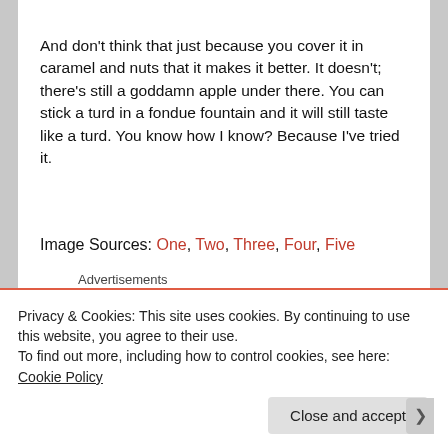And don't think that just because you cover it in caramel and nuts that it makes it better. It doesn't; there's still a goddamn apple under there. You can stick a turd in a fondue fountain and it will still taste like a turd. You know how I know? Because I've tried it.
Image Sources: One, Two, Three, Four, Five
Advertisements
Privacy & Cookies: This site uses cookies. By continuing to use this website, you agree to their use.
To find out more, including how to control cookies, see here: Cookie Policy